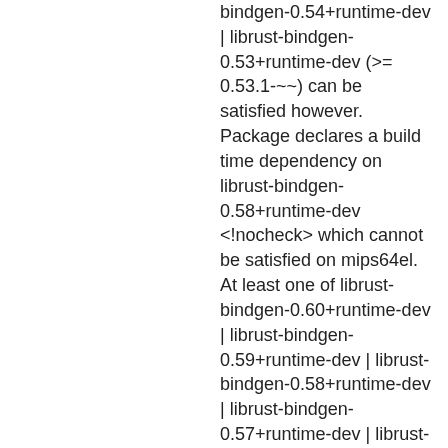bindgen-0.54+runtime-dev | librust-bindgen-0.53+runtime-dev (>= 0.53.1-~~) can be satisfied however. Package declares a build time dependency on librust-bindgen-0.58+runtime-dev <!nocheck> which cannot be satisfied on mips64el. At least one of librust-bindgen-0.60+runtime-dev | librust-bindgen-0.59+runtime-dev | librust-bindgen-0.58+runtime-dev | librust-bindgen-0.57+runtime-dev | librust-bindgen-0.56+runtime-dev | librust-bindgen-0.55+runtime-dev | librust-bindgen-0.54+runtime-dev | librust-bindgen-0.53+runtime-dev (>= 0.53.1-~~) can be satisfied however. Package declares a build time dependency on librust-bindgen-0.58+runtime-dev <!nocheck>